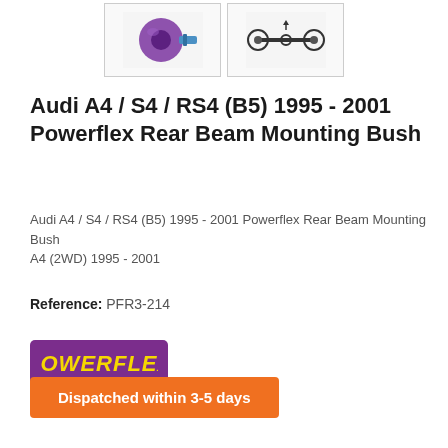[Figure (photo): Two product thumbnail images: left shows a purple polyurethane bush component, right shows a technical diagram of car suspension]
Audi A4 / S4 / RS4 (B5) 1995 - 2001 Powerflex Rear Beam Mounting Bush
Audi A4 / S4 / RS4 (B5) 1995 - 2001 Powerflex Rear Beam Mounting Bush
A4 (2WD) 1995 - 2001
Reference: PFR3-214
[Figure (logo): Powerflex brand logo with yellow text on purple background]
Dispatched within 3-5 days